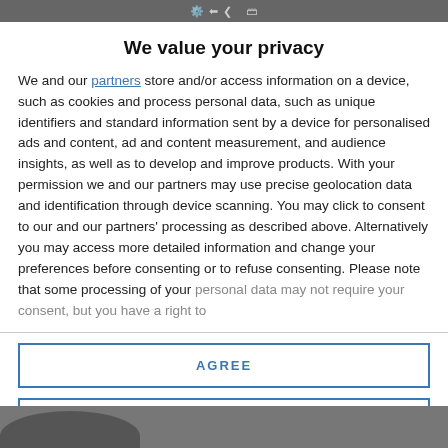We value your privacy
We and our partners store and/or access information on a device, such as cookies and process personal data, such as unique identifiers and standard information sent by a device for personalised ads and content, ad and content measurement, and audience insights, as well as to develop and improve products. With your permission we and our partners may use precise geolocation data and identification through device scanning. You may click to consent to our and our partners' processing as described above. Alternatively you may access more detailed information and change your preferences before consenting or to refuse consenting. Please note that some processing of your personal data may not require your consent, but you have a right to
AGREE
MORE OPTIONS
[Figure (photo): Partial view of a person's face at bottom of page]